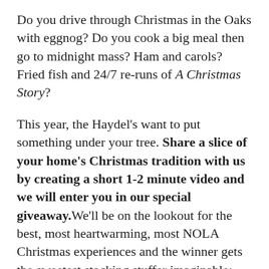Do you drive through Christmas in the Oaks with eggnog? Do you cook a big meal then go to midnight mass? Ham and carols? Fried fish and 24/7 re-runs of A Christmas Story?
This year, the Haydel's want to put something under your tree. Share a slice of your home's Christmas tradition with us by creating a short 1-2 minute video and we will enter you in our special giveaway. We'll be on the lookout for the best, most heartwarming, most NOLA Christmas experiences and the winner gets the sweetest stocking stuffer imaginable:
How does a $150